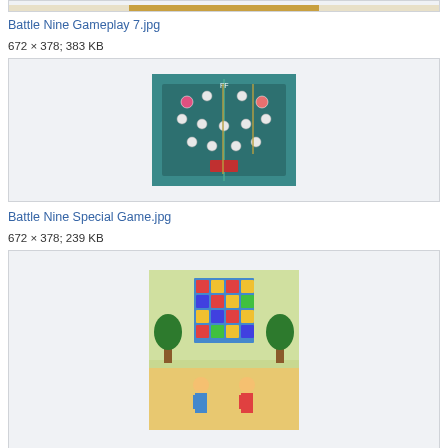[Figure (screenshot): Top cropped gameplay screenshot of Battle Nine game]
Battle Nine Gameplay 7.jpg
672 × 378; 383 KB
[Figure (screenshot): Battle Nine gameplay screenshot showing teal-colored field with player pieces arranged in a formation]
Battle Nine Special Game.jpg
672 × 378; 239 KB
[Figure (screenshot): Battle Nine screenshot showing a room with a scoreboard/grid and two characters with trees]